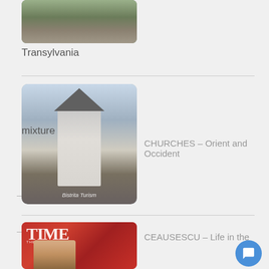[Figure (photo): Photo of people and a bear on a gravel path in Transylvania]
Transylvania
[Figure (photo): Photo of a white church tower with dark roof, watermark reading Bistrita Turism]
CHURCHES – Orient and Occident
mixture
[Figure (photo): TIME magazine cover featuring Ceausescu portrait against colorful background]
CEAUSESCU – Life in the